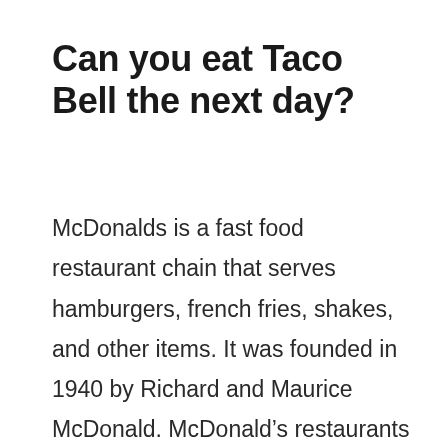Can you eat Taco Bell the next day?
McDonalds is a fast food restaurant chain that serves hamburgers, french fries, shakes, and other items. It was founded in 1940 by Richard and Maurice McDonald. McDonald's restaurants serve breakfast, lunch, dinner, and late night meals. Most McDonald's restaurants